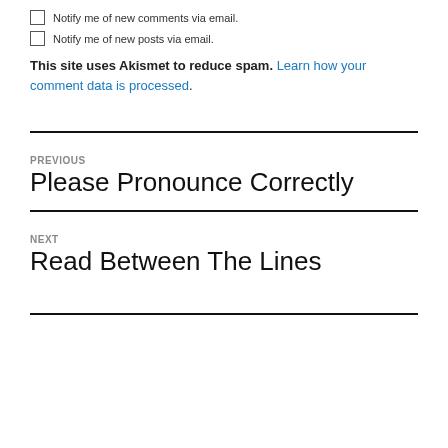Notify me of new comments via email.
Notify me of new posts via email.
This site uses Akismet to reduce spam. Learn how your comment data is processed.
PREVIOUS
Please Pronounce Correctly
NEXT
Read Between The Lines